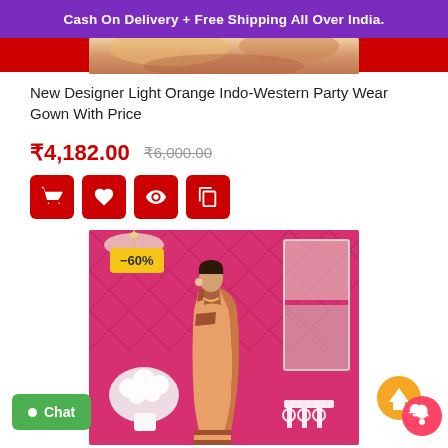Cash On Delivery + Free Shipping All Over India.
[Figure (photo): Top portion of a product photo showing a light orange saree/gown with decorative background]
New Designer Light Orange Indo-Western Party Wear Gown With Price
₹4,182.00  ₹6,000.00
[Figure (infographic): Four action buttons: add to cart (hand icon), wishlist (heart icon), quick view (eye icon), compare (copy icon), all in red]
[Figure (photo): Woman wearing light orange saree standing in a decorated room with pink floral wallpaper, white chandelier, and white furniture. A yellow badge shows -60% discount.]
Chat
[Figure (infographic): Scroll to top button (orange circle with up arrow) and notification bell button (pink/red circle with bell icon)]